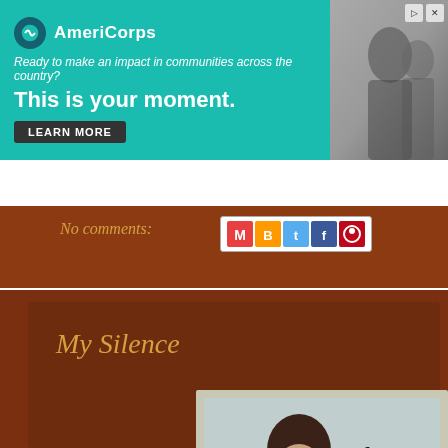[Figure (photo): AmeriCorps advertisement banner with teal background. Logo on left with text 'AmeriCorps', tagline 'Ready to make an impact in communities across the country?', headline 'This is your moment.' and a 'LEARN MORE' button. Right side shows a photo of people.]
[Figure (screenshot): Navigation strip with back arrow button and dashed separator line on brown/rust background.]
No comments:
[Figure (screenshot): Share icons row including Gmail, Blogger, Twitter, Facebook, and Pinterest icons in a white bordered box.]
My Silence
[Figure (photo): A young woman with wet dark hair and a necklace, wearing a white top, with partial text 'If...' visible on the right side of the framed image card.]